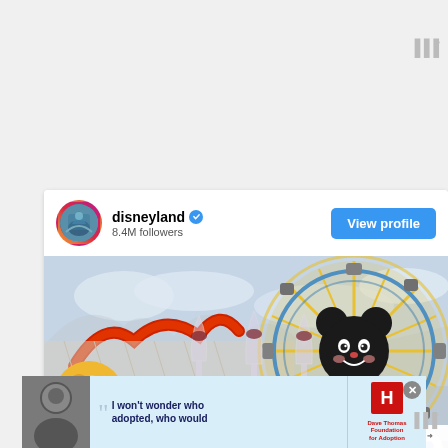[Figure (screenshot): Instagram profile widget for Disneyland showing username, verified badge, 8.4M followers, View profile button, a photo of wine glasses and charcuterie board in front of Pixar Pier Ferris wheel, heart and share action buttons, What's Next banner for Orange County Events, and an ad banner for Dave Thomas Foundation for Adoption at the bottom.]